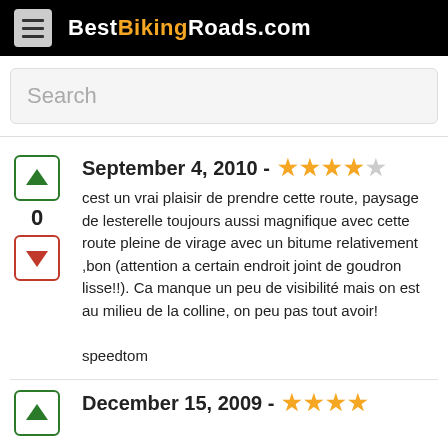BestBikingRoads.com
Search
September 4, 2010 - ★★★★☆
cest un vrai plaisir de prendre cette route, paysage de lesterelle toujours aussi magnifique avec cette route pleine de virage avec un bitume relativement ,bon (attention a certain endroit joint de goudron lisse!!). Ca manque un peu de visibilité mais on est au milieu de la colline, on peu pas tout avoir!

speedtom
December 15, 2009 - ★★★★★